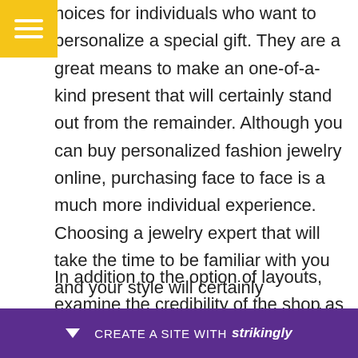[Figure (other): Yellow square menu icon with three white horizontal lines (hamburger menu)]
hoices for individuals who want to personalize a special gift. They are a great means to make an one-of-a-kind present that will certainly stand out from the remainder. Although you can buy personalized fashion jewelry online, purchasing face to face is a much more individual experience. Choosing a jewelry expert that will take the time to be familiar with you and your style will certainly guarantee you have an unforgettable experience.
In addition to the option of layouts, examine the credibility of the shop as well as the efficiency of past consumers. While many fashion jewelry store here are s igns
[Figure (other): Strikingly promotional bar at the bottom: dark purple background with a downward arrow icon and text 'CREATE A SITE WITH strikingly']